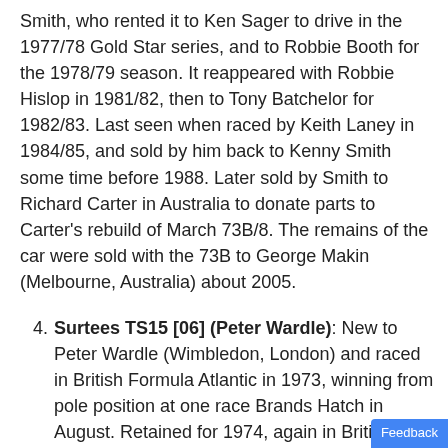Smith, who rented it to Ken Sager to drive in the 1977/78 Gold Star series, and to Robbie Booth for the 1978/79 season. It reappeared with Robbie Hislop in 1981/82, then to Tony Batchelor for 1982/83. Last seen when raced by Keith Laney in 1984/85, and sold by him back to Kenny Smith some time before 1988. Later sold by Smith to Richard Carter in Australia to donate parts to Carter's rebuild of March 73B/8. The remains of the car were sold with the 73B to George Makin (Melbourne, Australia) about 2005.
4. Surtees TS15 [06] (Peter Wardle): New to Peter Wardle (Wimbledon, London) and raced in British Formula Atlantic in 1973, winning from pole position at one race Brands Hatch in August. Retained for 1974, again in British Formula Atlantic, and then retained for a third season in